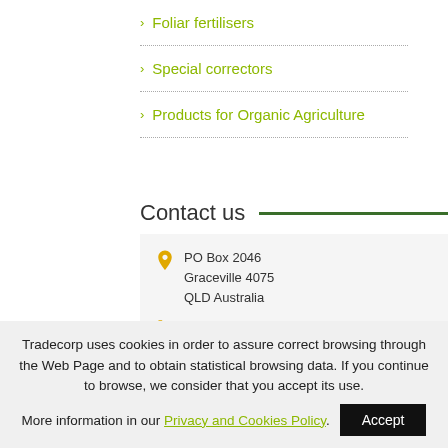> Foliar fertilisers
> Special correctors
> Products for Organic Agriculture
Contact us
PO Box 2046
Graceville 4075
QLD Australia
1300 595 000
0448 016 025
Tradecorp uses cookies in order to assure correct browsing through the Web Page and to obtain statistical browsing data. If you continue to browse, we consider that you accept its use.
More information in our Privacy and Cookies Policy.